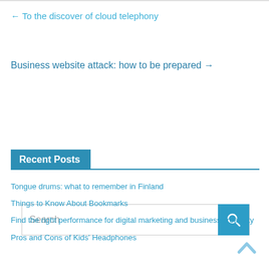← To the discover of cloud telephony
Business website attack: how to be prepared →
Search
Recent Posts
Tongue drums: what to remember in Finland
Things to Know About Bookmarks
Find the right performance for digital marketing and business creativity
Pros and Cons of Kids' Headphones